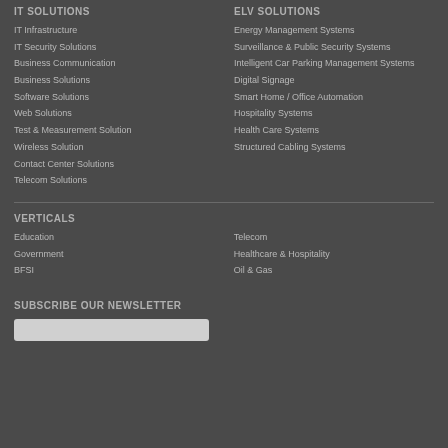IT SOLUTIONS
IT Infrastructure
IT Security Solutions
Business Communication
Business Solutions
Software Solutions
Web Solutions
Test & Measurement Solution
Wireless Solution
Contact Center Solutions
Telecom Solutions
ELV SOLUTIONS
Energy Management Systems
Surveillance & Public Security Systems
Intelligent Car Parking Management Systems
Digital Signage
Smart Home / Office Automation
Hospitality Systems
Health Care Systems
Structured Cabling Systems
VERTICALS
Education
Government
BFSI
Telecom
Healthcare & Hospitality
Oil & Gas
SUBSCRIBE OUR NEWSLETTER